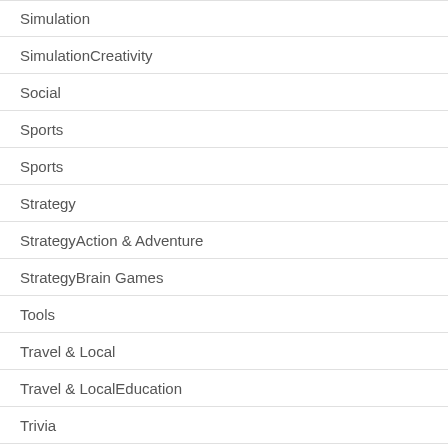Simulation
SimulationCreativity
Social
Sports
Sports
Strategy
StrategyAction & Adventure
StrategyBrain Games
Tools
Travel & Local
Travel & LocalEducation
Trivia
TriviaBrain Games